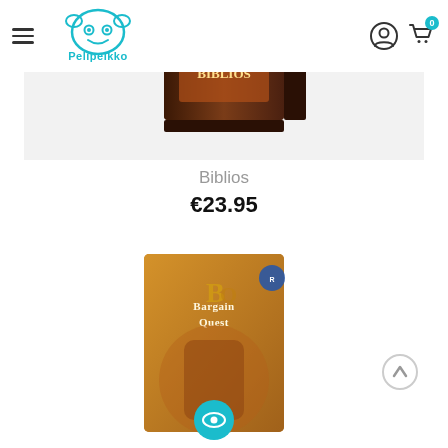Pelipeikko
[Figure (photo): Biblios board game box product image on light gray background]
Biblios
€23.95
[Figure (photo): Bargain Quest board game box product image on white background, with teal eye icon overlay and scroll-up button]